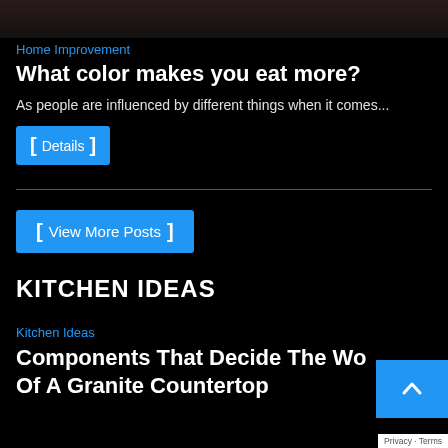[Figure (photo): Partial view of a dark photo at top of page]
Home Improvement
What color makes you eat more?
As people are influenced by different things when it comes...
Details
View More Posts
KITCHEN IDEAS
Kitchen Ideas
Components That Decide The Wo... Of A Granite Countertop